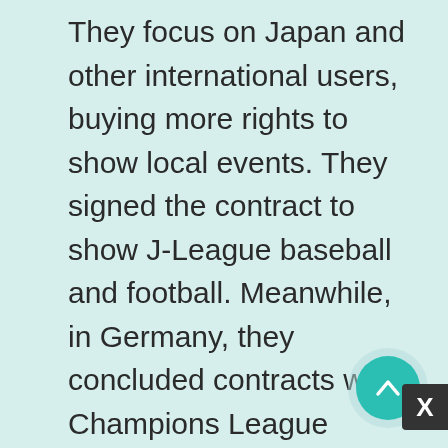They focus on Japan and other international users, buying more rights to show local events. They signed the contract to show J-League baseball and football. Meanwhile, in Germany, they concluded contracts with Champions League football and Bundesliga. They continue to attract more subscribers. Unlike the “Netflix of sports,” DAZN tries to highlight only the most popular and interesting sports that might interest local and worldwide communities. Many rights holders are interested in DAZN as their major broadcast partner. DAZN does not name the number of its subscribers. However, being the only company that owns the rights to show football matches from Serie A, it means they are incredibly successful in business. The company